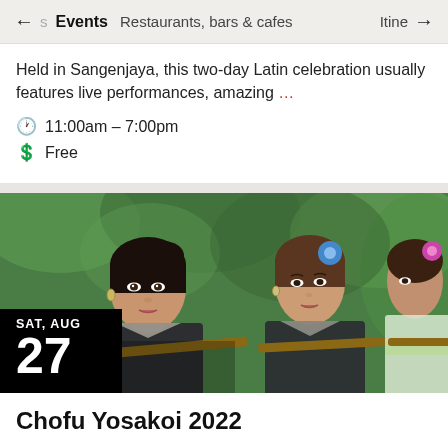← s  Events  Restaurants, bars & cafes  Itine →
Held in Sangenjaya, this two-day Latin celebration usually features live performances, amazing ...
🕐 11:00am – 7:00pm
💰 Free
[Figure (photo): Three Japanese women in dark kimono-style garments holding wooden sticks/batons, performing at Yosakoi festival. Green bokeh background. Date badge shows SAT, AUG 27 in bottom-left corner.]
Chofu Yosakoi 2022
After a 3 year hiatus, the Chofu Yosakoi festival is back. You beginning for more information...